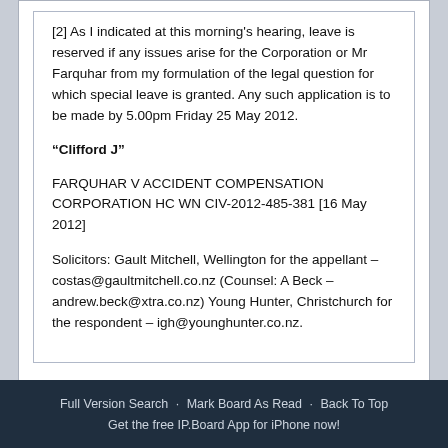[2] As I indicated at this morning's hearing, leave is reserved if any issues arise for the Corporation or Mr Farquhar from my formulation of the legal question for which special leave is granted. Any such application is to be made by 5.00pm Friday 25 May 2012.
"Clifford J"
FARQUHAR V ACCIDENT COMPENSATION CORPORATION HC WN CIV-2012-485-381 [16 May 2012]
Solicitors: Gault Mitchell, Wellington for the appellant – costas@gaultmitchell.co.nz (Counsel: A Beck – andrew.beck@xtra.co.nz) Young Hunter, Christchurch for the respondent – igh@younghunter.co.nz.
Full Version Search · Mark Board As Read · Back To Top
Get the free IP.Board App for iPhone now!